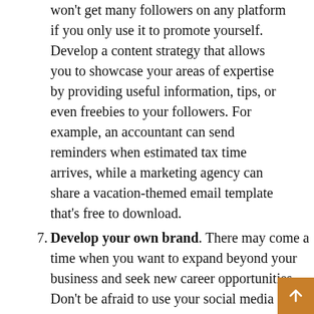won't get many followers on any platform if you only use it to promote yourself. Develop a content strategy that allows you to showcase your areas of expertise by providing useful information, tips, or even freebies to your followers. For example, an accountant can send reminders when estimated tax time arrives, while a marketing agency can share a vacation-themed email template that's free to download.
7. Develop your own brand. There may come a time when you want to expand beyond your business and seek new career opportunities. Don't be afraid to use your social media presence to spread your wings and expand your network so that you can leverage your connections if and when the time is right.
One last tip
When it comes to social media, your success is often a direct result of your efforts. The more active content you share and the more you engage with other people's posts, the more